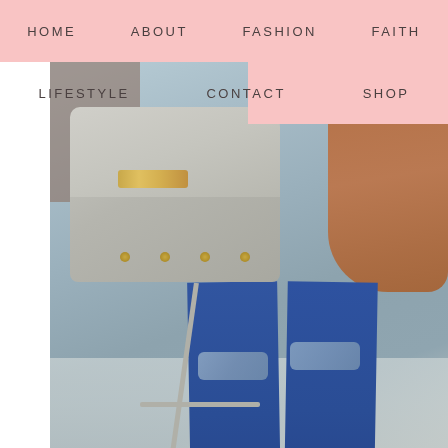HOME   ABOUT   FASHION   FAITH
LIFESTYLE   CONTACT   SHOP
[Figure (photo): Fashion blog photo showing a person from mid-torso down wearing a rust/brown blouse, distressed blue skinny jeans, and carrying a gray structured handbag with gold hardware on a sidewalk background.]